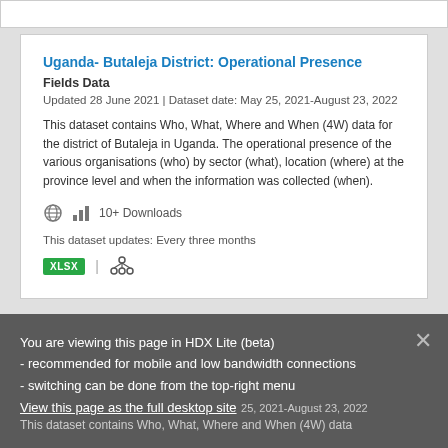Uganda- Butaleja District: Operational Presence
Fields Data
Updated 28 June 2021 | Dataset date: May 25, 2021-August 23, 2022
This dataset contains Who, What, Where and When (4W) data for the district of Butaleja in Uganda. The operational presence of the various organisations (who) by sector (what), location (where) at the province level and when the information was collected (when).
10+ Downloads
This dataset updates: Every three months
XLSX
You are viewing this page in HDX Lite (beta) - recommended for mobile and low bandwidth connections - switching can be done from the top-right menu
View this page as the full desktop site